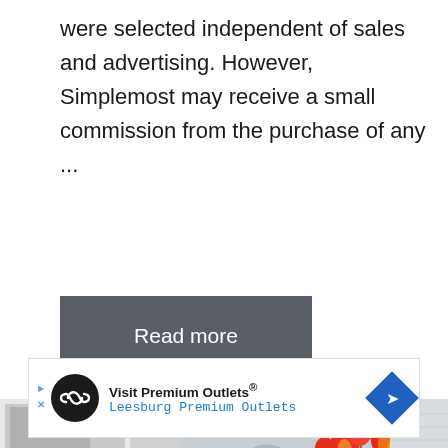were selected independent of sales and advertising. However, Simplemost may receive a small commission from the purchase of any ...
Read more
[Figure (photo): Kitchen scene with white cabinets, a microwave, a coffee maker, a pedestal bowl, a sink with modern faucet, a white vase with orange/yellow tulips, and a window with blinds in the background.]
[Figure (other): Advertisement banner: Visit Premium Outlets® Leesburg Premium Outlets, with a black circular logo showing infinity symbol and a blue diamond-shaped arrow icon.]